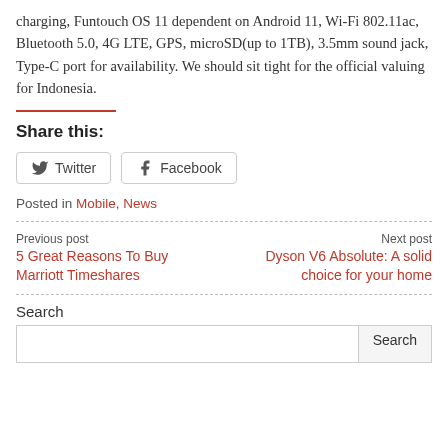charging, Funtouch OS 11 dependent on Android 11, Wi-Fi 802.11ac, Bluetooth 5.0, 4G LTE, GPS, microSD(up to 1TB), 3.5mm sound jack, Type-C port for availability. We should sit tight for the official valuing for Indonesia.
Share this:
Twitter  Facebook
Posted in Mobile, News
Previous post
5 Great Reasons To Buy Marriott Timeshares
Next post
Dyson V6 Absolute: A solid choice for your home
Search
Search